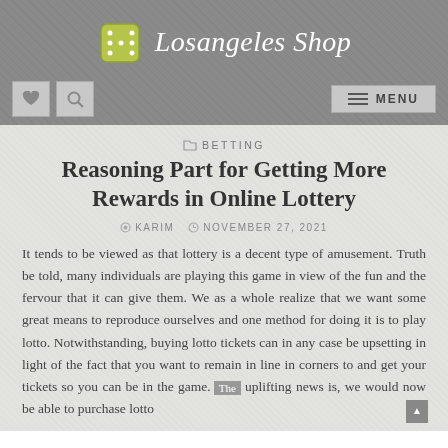Losangeles Shop
Reasoning Part for Getting More Rewards in Online Lottery
BETTING
KARIM  NOVEMBER 27, 2021
It tends to be viewed as that lottery is a decent type of amusement. Truth be told, many individuals are playing this game in view of the fun and the fervour that it can give them. We as a whole realize that we want some great means to reproduce ourselves and one method for doing it is to play lotto. Notwithstanding, buying lotto tickets can in any case be upsetting in light of the fact that you want to remain in line in corners to and get your tickets so you can be in the game. The uplifting news is, we would now be able to purchase lotto